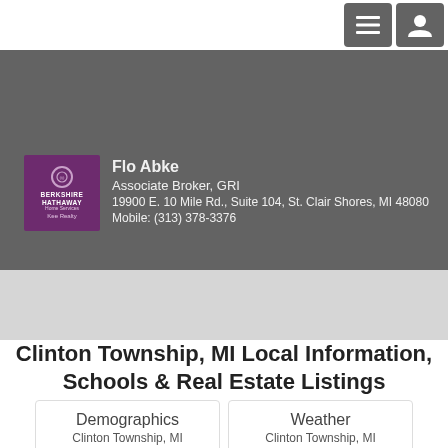[Figure (screenshot): Navigation bar with hamburger menu icon and user profile icon buttons on grey background]
[Figure (logo): Berkshire Hathaway Home Services Kee Realty logo in purple square]
Flo Abke
Associate Broker, GRI
19900 E. 10 Mile Rd., Suite 104, St. Clair Shores, MI 48080
Mobile: (313) 378-3376
Clinton Township, MI Local Information, Schools & Real Estate Listings
[Figure (infographic): Demographics card with silhouette icons of people group - Clinton Township, MI]
[Figure (infographic): Weather card with sun icon - Clinton Township, MI]